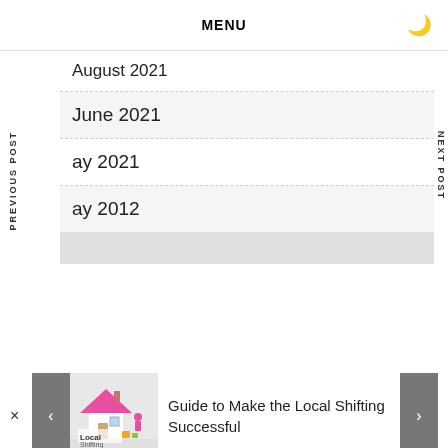MENU
August 2021
June 2021
ay 2021
ay 2012
PREVIOUS POST
NEXT POST
Guide to Make the Local Shifting Successful
[Figure (illustration): Local Shifting illustration with pink house and movers]